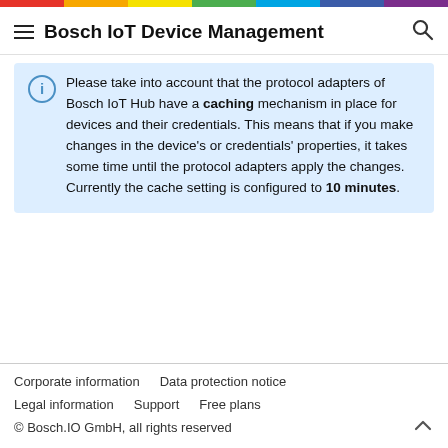Bosch IoT Device Management
Please take into account that the protocol adapters of Bosch IoT Hub have a caching mechanism in place for devices and their credentials. This means that if you make changes in the device's or credentials' properties, it takes some time until the protocol adapters apply the changes. Currently the cache setting is configured to 10 minutes.
Corporate information   Data protection notice
Legal information   Support   Free plans
© Bosch.IO GmbH, all rights reserved